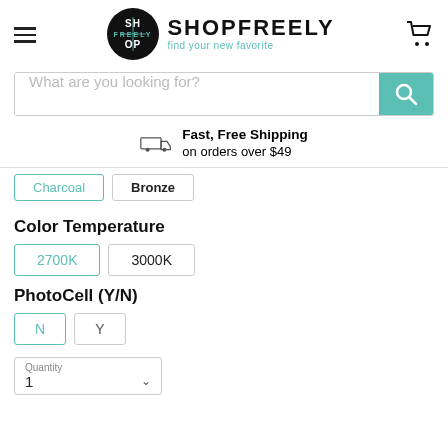[Figure (logo): ShopFreely logo with circular badge and shopping cart icon header]
[Figure (screenshot): Search bar with teal search button]
Fast, Free Shipping on orders over $49
Charcoal  Bronze
Color Temperature
2700K  3000K
PhotoCell (Y/N)
N  Y
Quantity 1